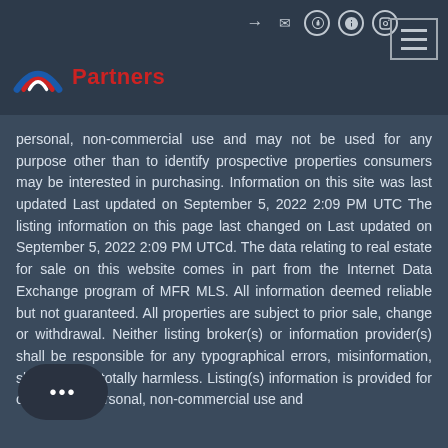Summit Partners
personal, non-commercial use and may not be used for any purpose other than to identify prospective properties consumers may be interested in purchasing. Information on this site was last updated Last updated on September 5, 2022 2:09 PM UTC The listing information on this page last changed on Last updated on September 5, 2022 2:09 PM UTCd. The data relating to real estate for sale on this website comes in part from the Internet Data Exchange program of MFR MLS. All information deemed reliable but not guaranteed. All properties are subject to prior sale, change or withdrawal. Neither listing broker(s) or information provider(s) shall be responsible for any typographical errors, misinformation, shall be held totally harmless. Listing(s) information is provided for consumers personal, non-commercial use and